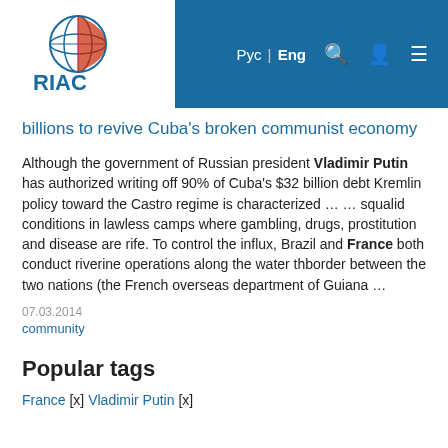RIAC | Рус | Eng
billions to revive Cuba's broken communist economy
Although the government of Russian president Vladimir Putin has authorized writing off 90% of Cuba's $32 billion debt Kremlin policy toward the Castro regime is characterized … … squalid conditions in lawless camps where gambling, drugs, prostitution and disease are rife. To control the influx, Brazil and France both conduct riverine operations along the water thborder between the two nations (the French overseas department of Guiana …
07.03.2014
community
Popular tags
France [x] Vladimir Putin [x]